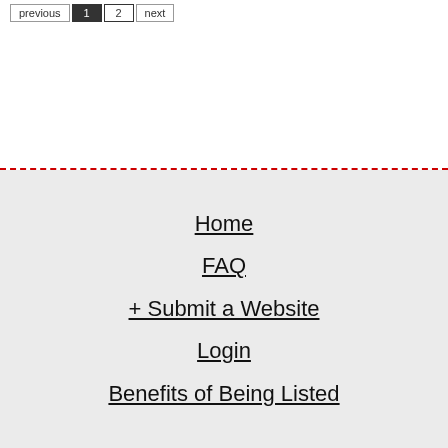previous 1 2 next
Home
FAQ
+ Submit a Website
Login
Benefits of Being Listed